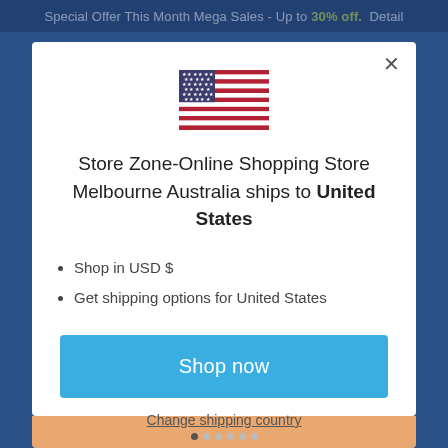Special Offer This Month Mega Sales - Up to 30% off.  Detail
[Figure (illustration): US flag SVG inline illustration]
Store Zone-Online Shopping Store Melbourne Australia ships to United States
Shop in USD $
Get shipping options for United States
Shop now
Change shipping country